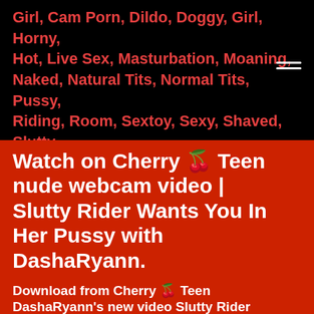Girl, Cam Porn, Dildo, Doggy, Girl, Horny, Hot, Live Sex, Masturbation, Moaning, Naked, Natural Tits, Normal Tits, Pussy, Riding, Room, Sextoy, Sexy, Shaved, Slutty, Solo, Sologirl, Toy, White,
Watch on Cherry 🍒 Teen nude webcam video | Slutty Rider Wants You In Her Pussy with DashaRyann.
Download from Cherry 🍒 Teen DashaRyann's new video Slutty Rider Wants You In Her Pussy .Sexy naked private with anal toys and pussy on